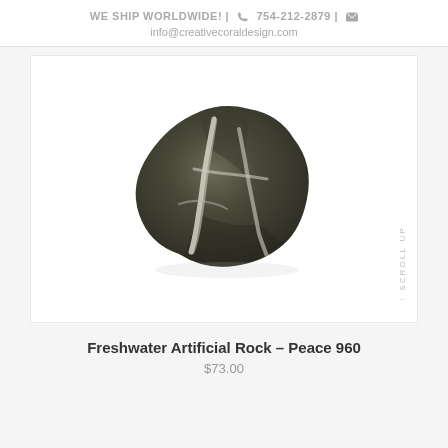WE SHIP WORLDWIDE! | 📞 754-212-2879 | ✉
info@creativecoraldesign.com
[Figure (photo): A freshwater artificial rock product named Peace 960, dark grey/olive colored rock with white mineral veins running through it, viewed from slightly above.]
Freshwater Artificial Rock – Peace 960
$73.00